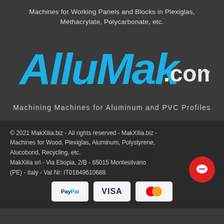Machines for Working Panels and Blocks in Plexiglas, Methacrylate, Polycarbonate, etc.
[Figure (logo): AlluMak.com logo in blue brush-style lettering with .com in white]
Machining Machines for Aluminum and PVC Profiles
© 2021 MakXilia.biz - All rights reserved - MakXilia.biz - Machines for Wood, Plexiglas, Aluminum, Polystyrene, Alucobond, Recycling, etc.
MakXilia srl - Via Etiopia, 2/B - 65015 Montesilvano (PE) - Italy - Vat Nr: IT01649610688
[Figure (logo): Payment method logos: PayPal, VISA, Mastercard]